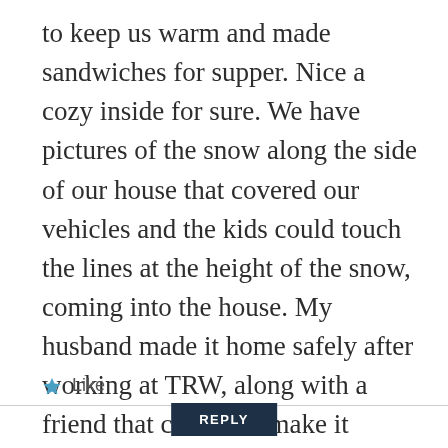to keep us warm and made sandwiches for supper. Nice a cozy inside for sure. We have pictures of the snow along the side of our house that covered our vehicles and the kids could touch the lines at the height of the snow, coming into the house. My husband made it home safely after working at TRW, along with a friend that could not make it home...he lived in Pelham. We all shovelled out the next day and days afterward.
Like
REPLY